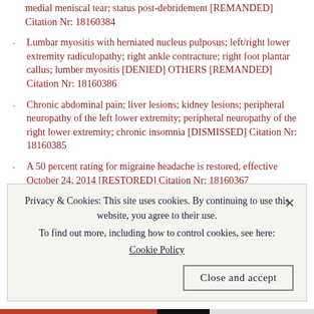medial meniscal tear; status post-debridement [REMANDED] Citation Nr: 18160384
Lumbar myositis with herniated nucleus pulposus; left/right lower extremity radiculopathy; right ankle contracture; right foot plantar callus; lumber myositis [DENIED] OTHERS [REMANDED] Citation Nr: 18160386
Chronic abdominal pain; liver lesions; kidney lesions; peripheral neuropathy of the left lower extremity; peripheral neuropathy of the right lower extremity; chronic insomnia [DISMISSED] Citation Nr: 18160385
A 50 percent rating for migraine headache is restored, effective October 24, 2014 [RESTORED] Citation Nr: 18160367
Entitlement to a total disability rating based on individual
Privacy & Cookies: This site uses cookies. By continuing to use this website, you agree to their use. To find out more, including how to control cookies, see here: Cookie Policy